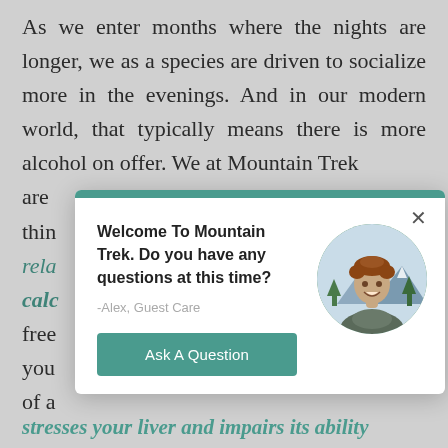As we enter months where the nights are longer, we as a species are driven to socialize more in the evenings. And in our modern world, that typically means there is more alcohol on offer. We at Mountain Trek are thin… rela… calc… free… you… of a…
[Figure (screenshot): A chat widget modal popup with a teal top bar, close X button, greeting text 'Welcome To Mountain Trek. Do you have any questions at this time?', agent name '-Alex, Guest Care', a circular photo of a smiling man outdoors with mountains, and an 'Ask A Question' teal button.]
stresses your liver and impairs its ability